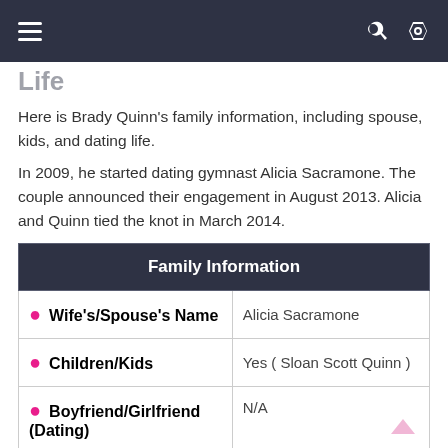Navigation bar with menu, search, and shuffle icons
Here is Brady Quinn's family information, including spouse, kids, and dating life.
In 2009, he started dating gymnast Alicia Sacramone. The couple announced their engagement in August 2013. Alicia and Quinn tied the knot in March 2014.
| Family Information |  |
| --- | --- |
| Wife's/Spouse's Name | Alicia Sacramone |
| Children/Kids | Yes ( Sloan Scott Quinn ) |
| Boyfriend/Girlfriend (Dating) | N/A |
| Civil Status | Married |